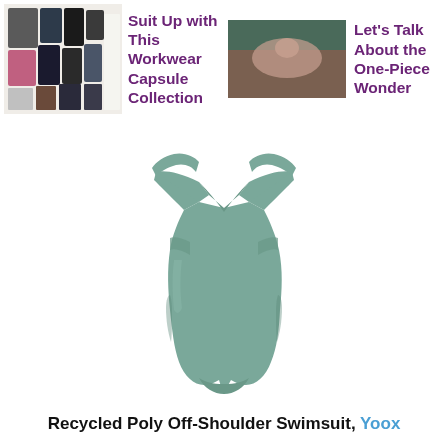[Figure (illustration): Workwear capsule collection collage with clothing items on white background]
Suit Up with This Workwear Capsule Collection
[Figure (photo): Woman lying down outdoors, one-piece swimsuit editorial photo]
Let's Talk About the One-Piece Wonder
[Figure (photo): Sage green recycled poly off-shoulder one-piece swimsuit on white background]
Recycled Poly Off-Shoulder Swimsuit, Yoox